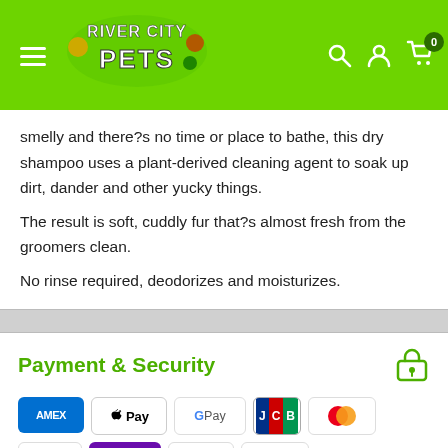[Figure (logo): River City Pets logo with green header, hamburger menu, search, user, and cart icons]
smelly and there?s no time or place to bathe, this dry shampoo uses a plant-derived cleaning agent to soak up dirt, dander and other yucky things.
The result is soft, cuddly fur that?s almost fresh from the groomers clean.
No rinse required, deodorizes and moisturizes.
Payment & Security
[Figure (infographic): Payment method icons: American Express, Apple Pay, Google Pay, JCB, Mastercard, PayPal, OPay, Visa, Zip, Zip, Afterpay]
Your payment information is processed securely. We do not